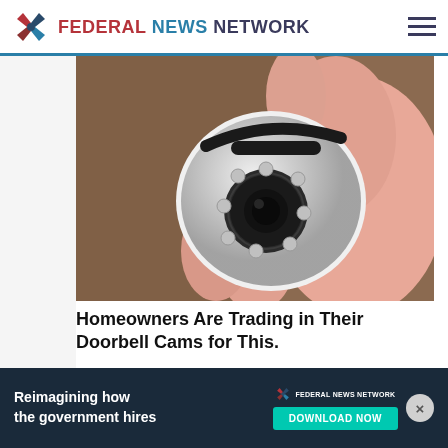FEDERAL NEWS NETWORK
[Figure (photo): Close-up of a small white spherical security camera being held in a hand]
Homeowners Are Trading in Their Doorbell Cams for This.
Keilini.com
[Figure (photo): Partial view of a person with blonde hair, bottom portion of page]
[Figure (screenshot): Federal News Network advertisement banner: Reimagining how the government hires - DOWNLOAD NOW]